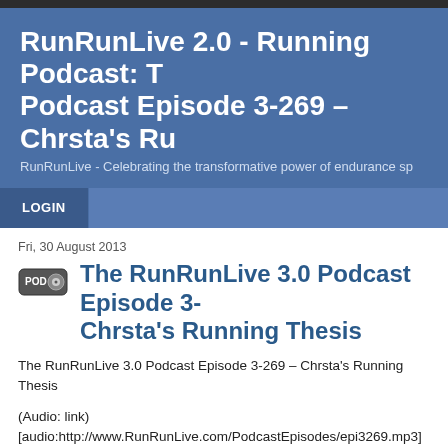RunRunLive 2.0 - Running Podcast: The Podcast Episode 3-269 – Chrsta's Running Thesis
RunRunLive - Celebrating the transformative power of endurance sports
LOGIN
Fri, 30 August 2013
The RunRunLive 3.0 Podcast Episode 3-269 – Chrsta's Running Thesis
The RunRunLive 3.0 Podcast Episode 3-269 – Chrsta's Running Thesis
(Audio: link) [audio:http://www.RunRunLive.com/PodcastEpisodes/epi3269.mp3]
Link epi3269.mp3
Hey! I spent 40-60 hours of my precious time recording running stories for you and you s… Cures the blues, guaranteed! Money back if you're not tickled to death.  -------------- ☞>>>>>>>http://bit.ly/1cH2Fr7<<<<<<<-----------